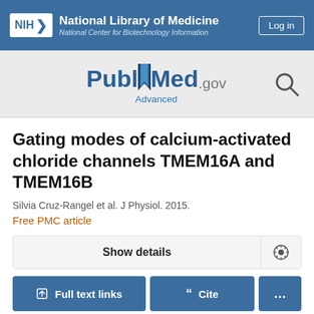NIH National Library of Medicine National Center for Biotechnology Information Log in
[Figure (logo): PubMed.gov logo with search icon and Advanced search link]
Gating modes of calcium-activated chloride channels TMEM16A and TMEM16B
Silvia Cruz-Rangel et al. J Physiol. 2015.
Free PMC article
Show details
Full text links  Cite  ...